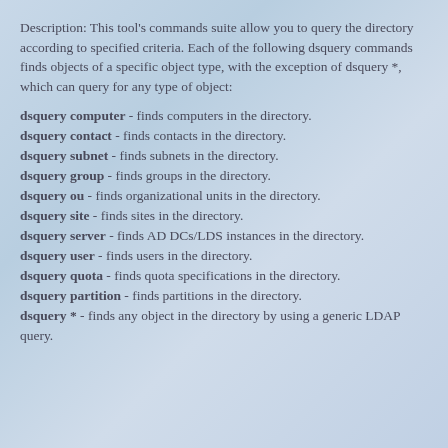Description: This tool's commands suite allow you to query the directory according to specified criteria. Each of the following dsquery commands finds objects of a specific object type, with the exception of dsquery *, which can query for any type of object:
dsquery computer - finds computers in the directory.
dsquery contact - finds contacts in the directory.
dsquery subnet - finds subnets in the directory.
dsquery group - finds groups in the directory.
dsquery ou - finds organizational units in the directory.
dsquery site - finds sites in the directory.
dsquery server - finds AD DCs/LDS instances in the directory.
dsquery user - finds users in the directory.
dsquery quota - finds quota specifications in the directory.
dsquery partition - finds partitions in the directory.
dsquery * - finds any object in the directory by using a generic LDAP query.